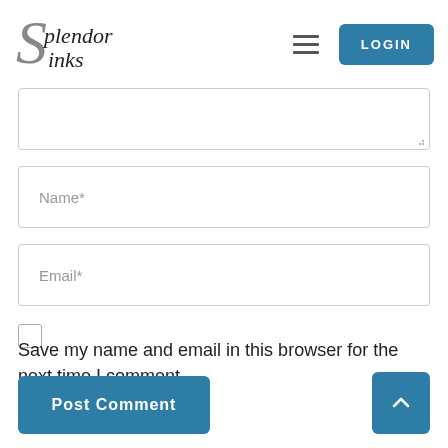[Figure (logo): Splendor Sinks logo with stylized S and cursive text]
LOGIN
[Figure (screenshot): Textarea input field (partially visible, with resize handle)]
Name*
Email*
Save my name and email in this browser for the next time I comment.
Post Comment